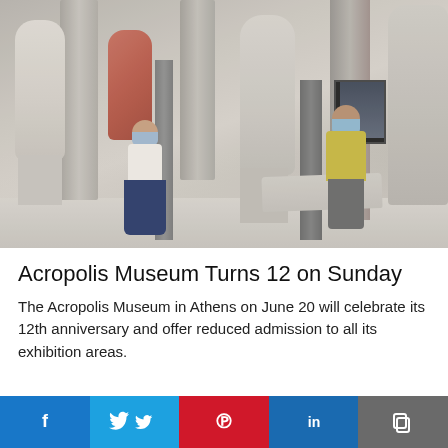[Figure (photo): Interior of the Acropolis Museum in Athens. Two visitors wearing face masks stand among ancient Greek marble statues and artifacts. One woman in a white top and dark blue skirt stands on the left, another in a yellow top stands behind a display stand on the right. Ancient sculptures on white pedestals fill the space.]
Acropolis Museum Turns 12 on Sunday
The Acropolis Museum in Athens on June 20 will celebrate its 12th anniversary and offer reduced admission to all its exhibition areas.